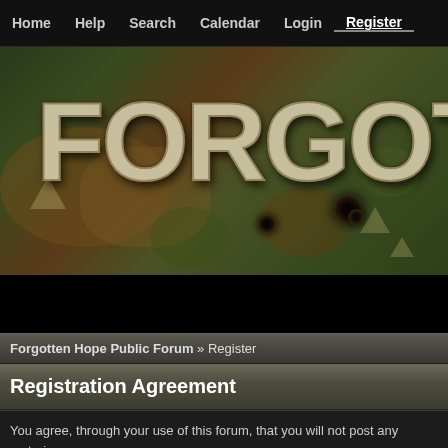Home  Help  Search  Calendar  Login  Register
[Figure (illustration): Camouflage banner with large distressed text reading FORGOTT (truncated), featuring military camouflage pattern with bullet holes]
Forgotten Hope Public Forum » Register
Registration Agreement
You agree, through your use of this forum, that you will not post any materia profane, sexually oriented, threatening, invasive of a person's privacy, adult